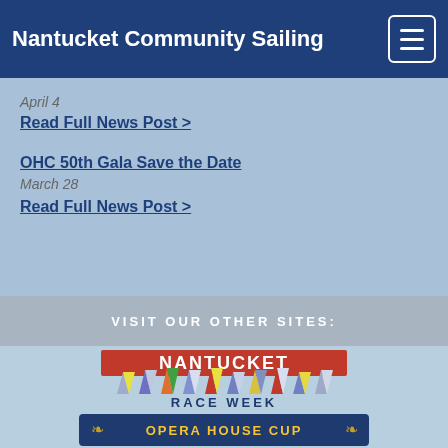Nantucket Community Sailing
April 4
Read Full News Post >
OHC 50th Gala Save the Date
March 28
Read Full News Post >
VISIT OUR OTHER SITES:
[Figure (logo): Nantucket Race Week logo with colorful sailboats and red banner]
[Figure (logo): Opera House Cup badge with gold laurels on navy background]